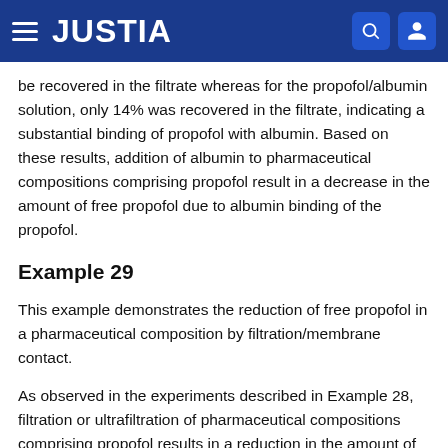JUSTIA
be recovered in the filtrate whereas for the propofol/albumin solution, only 14% was recovered in the filtrate, indicating a substantial binding of propofol with albumin. Based on these results, addition of albumin to pharmaceutical compositions comprising propofol result in a decrease in the amount of free propofol due to albumin binding of the propofol.
Example 29
This example demonstrates the reduction of free propofol in a pharmaceutical composition by filtration/membrane contact.
As observed in the experiments described in Example 28, filtration or ultrafiltration of pharmaceutical compositions comprising propofol results in a reduction in the amount of free propofol. Diprivan and a